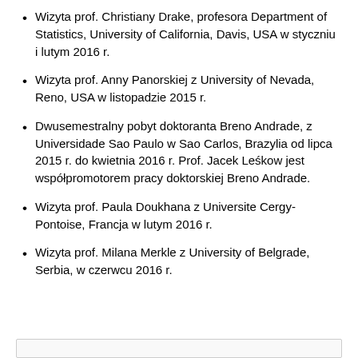Wizyta prof. Christiany Drake, profesora Department of Statistics, University of California, Davis, USA w styczniu i lutym 2016 r.
Wizyta prof. Anny Panorskiej z University of Nevada, Reno, USA w listopadzie 2015 r.
Dwusemestralny pobyt doktoranta Breno Andrade, z Universidade Sao Paulo w Sao Carlos, Brazylia od lipca 2015 r. do kwietnia 2016 r. Prof. Jacek Leśkow jest współpromotorem pracy doktorskiej Breno Andrade.
Wizyta prof. Paula Doukhana z Universite Cergy-Pontoise, Francja w lutym 2016 r.
Wizyta prof. Milana Merkle z University of Belgrade, Serbia, w czerwcu 2016 r.